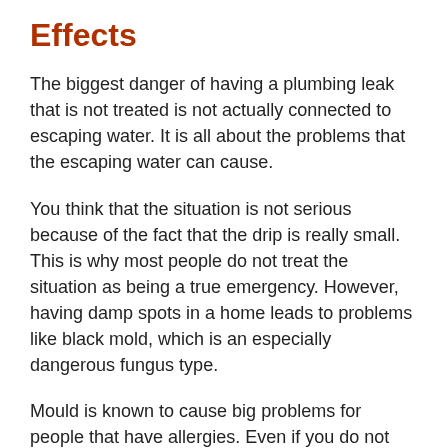Effects
The biggest danger of having a plumbing leak that is not treated is not actually connected to escaping water. It is all about the problems that the escaping water can cause.
You think that the situation is not serious because of the fact that the drip is really small. This is why most people do not treat the situation as being a true emergency. However, having damp spots in a home leads to problems like black mold, which is an especially dangerous fungus type.
Mould is known to cause big problems for people that have allergies. Even if you do not have an allergy, you can be faced with a sore throat, a sore